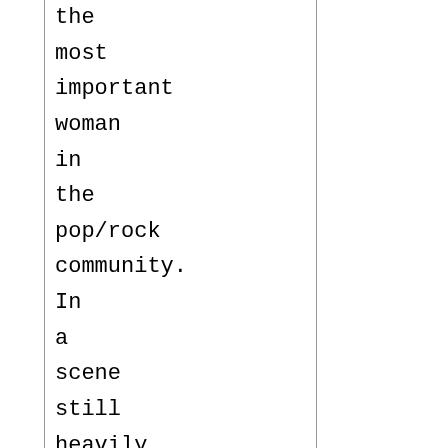the most important woman in the pop/rock community. In a scene still heavily dominated by males, Williams has paved